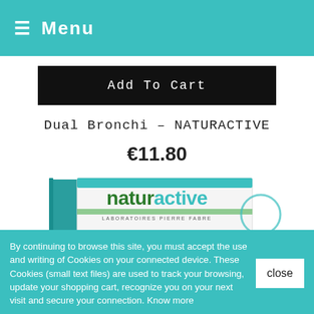≡ Menu
Add To Cart
Dual Bronchi – NATURACTIVE
€11.80
[Figure (photo): Product photo of Naturactive Dual Bronchi box, white packaging with teal and green accents, showing the naturactive brand name and LABORATOIRES PIERRE FABRE text]
By continuing to browse this site, you must accept the use and writing of Cookies on your connected device. These Cookies (small text files) are used to track your browsing, update your shopping cart, recognize you on your next visit and secure your connection. Know more